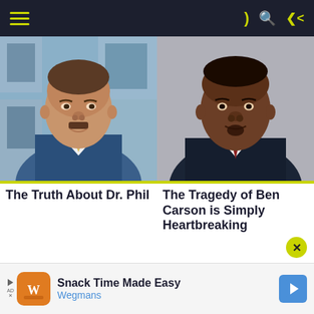Navigation bar with hamburger menu and icons
[Figure (photo): Photo of Dr. Phil McGraw in a blue suit on a TV show set]
[Figure (photo): Photo of Ben Carson in a dark suit with striped tie against grey background]
The Truth About Dr. Phil
The Tragedy of Ben Carson is Simply Heartbreaking
[Figure (photo): Close-up photo of an elderly man with rimless glasses]
[Figure (advertisement): Advertisement banner: Snack Time Made Easy - Wegmans]